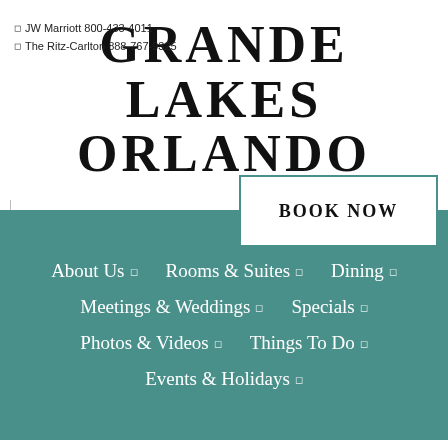GRANDE LAKES ORLANDO
JW Marriott 800-433-4011
The Ritz-Carlton 888-767-9325
BOOK NOW
About Us
Rooms & Suites
Dining
Meetings & Weddings
Specials
Photos & Videos
Things To Do
Events & Holidays